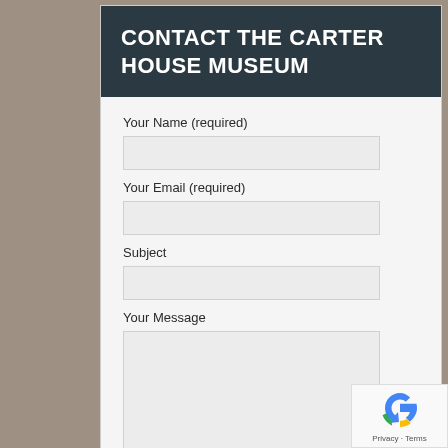CONTACT THE CARTER HOUSE MUSEUM
Your Name (required)
Your Email (required)
Subject
Your Message